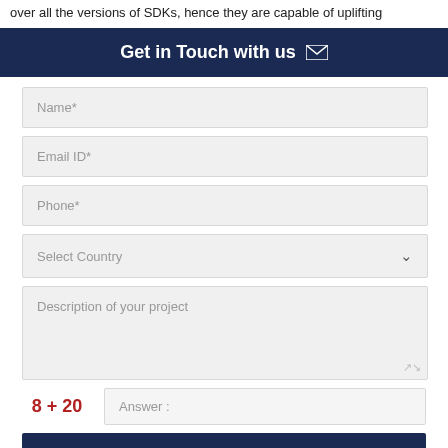over all the versions of SDKs, hence they are capable of uplifting
Get in Touch with us
Name*
Email ID*
Phone*
Select Country
Description of your project
8 + 20   Answer :
SUBMIT